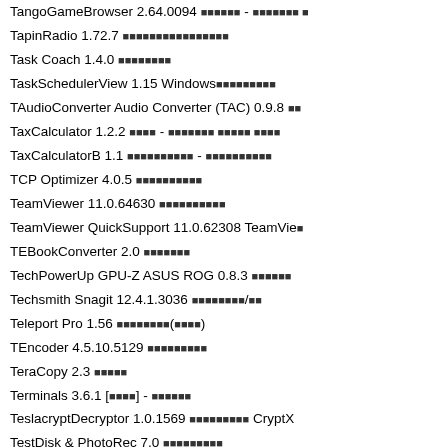TangoGameBrowser 2.64.0094 [encoded] - [encoded]
TapinRadio 1.72.7 [encoded]
Task Coach 1.4.0 [encoded]
TaskSchedulerView 1.15 Windows[encoded]
TAudioConverter Audio Converter (TAC) 0.9.8 [encoded]
TaxCalculator 1.2.2 [encoded] - [encoded]
TaxCalculatorB 1.1 [encoded] - [encoded]
TCP Optimizer 4.0.5 [encoded]
TeamViewer 11.0.64630 [encoded]
TeamViewer QuickSupport 11.0.62308 TeamView...
TEBookConverter 2.0 [encoded]
TechPowerUp GPU-Z ASUS ROG 0.8.3 [encoded]
Techsmith Snagit 12.4.1.3036 [encoded]/[encoded]
Teleport Pro 1.56 [encoded]([encoded])
TEncoder 4.5.10.5129 [encoded]
TeraCopy 2.3 [encoded]
Terminals 3.6.1 [[encoded]] - [encoded]
TeslacryptDecryptor 1.0.1569 [encoded] CryptX...
TestDisk & PhotoRec 7.0 [encoded]
TextDiff 4.6 [encoded]
The OEMer 1.0.0.97 OEM [encoded]
TheAeroClock 3.94 [encoded]
TheBat 7.1.6 [encoded]e-mail[encoded]